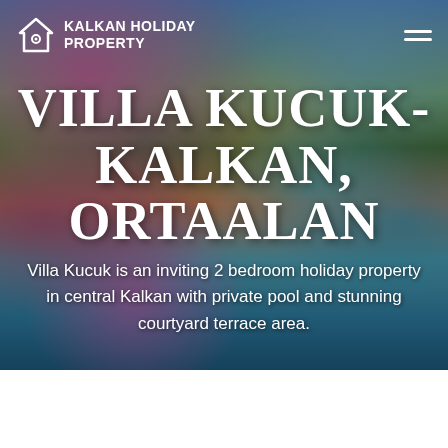[Figure (photo): Hero image of Villa Kucuk-Kalkan showing a swimming pool with terrace/sunbeds, bougainvillea flowers in the foreground, and mountains in the background]
KALKAN HOLIDAY PROPERTY
VILLA KUCUK-KALKAN, ORTAALAN
Villa Kucuk is an inviting 2 bedroom holiday property in central Kalkan with private pool and stunning courtyard terrace area.